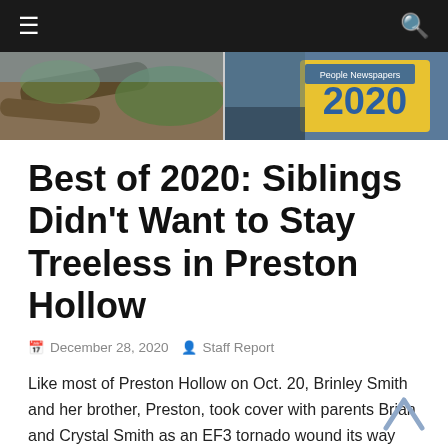≡  🔍
[Figure (photo): Header banner showing a fallen tree on the left and a People Newspapers 2020 logo/sign on the right]
Best of 2020: Siblings Didn't Want to Stay Treeless in Preston Hollow
December 28, 2020   Staff Report
Like most of Preston Hollow on Oct. 20, Brinley Smith and her brother, Preston, took cover with parents Brian and Crystal Smith as an EF3 tornado wound its way through their neighborhood.
“It was really dark, and we went into our closet, and